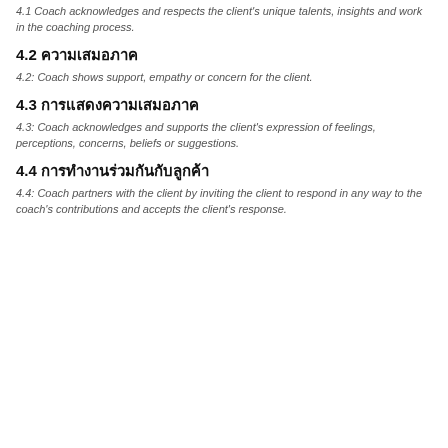4.1 Coach acknowledges and respects the client's unique talents, insights and work in the coaching process.
4.2 [Thai text]
4.2: Coach shows support, empathy or concern for the client.
4.3 [Thai text]
4.3: Coach acknowledges and supports the client's expression of feelings, perceptions, concerns, beliefs or suggestions.
4.4 [Thai text]
4.4: Coach partners with the client by inviting the client to respond in any way to the coach's contributions and accepts the client's response.